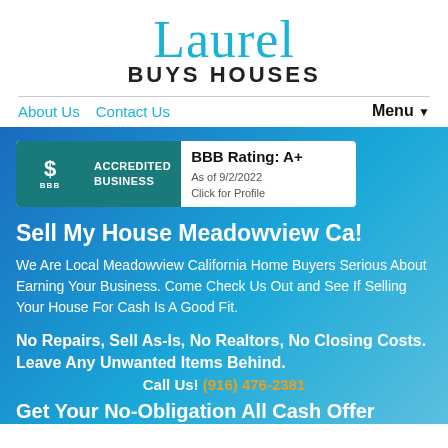[Figure (logo): Laurel Buys Houses logo — 'Laurel' in teal script font above 'BUYS HOUSES' in bold black sans-serif]
About Us   Contact Us                      Menu ▼
[Figure (logo): BBB Accredited Business badge with teal background]
BBB Rating: A+
As of 9/2/2022
Click for Profile
Sell My House Meadowview Ca!
We Are Local Meadowview California Home Buyers Serious About Earning Your Business. Come Check Us Out and See If Selling Your House For Cash Is A Good Fit.
No Repairs, Sell As-Is, No Realtors, No Closing Costs. Leave Any Unwanted Items Behind.
Call Us! (916) 476-2381
Get Your No-Obligation All Cash Offer